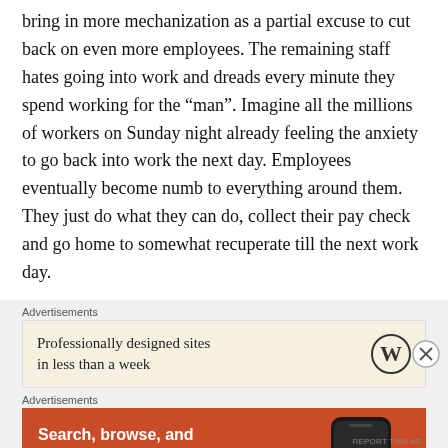bring in more mechanization as a partial excuse to cut back on even more employees. The remaining staff hates going into work and dreads every minute they spend working for the “man”. Imagine all the millions of workers on Sunday night already feeling the anxiety to go back into work the next day. Employees eventually become numb to everything around them. They just do what they can do, collect their pay check and go home to somewhat recuperate till the next work day.
[Figure (other): Advertisement banner for WordPress: 'Professionally designed sites in less than a week' with WordPress logo. Includes a close (X) button.]
[Figure (other): Advertisement banner for DuckDuckGo: 'Search, browse, and email with more privacy. All in One Free App' with DuckDuckGo logo on an orange background with phone image.]